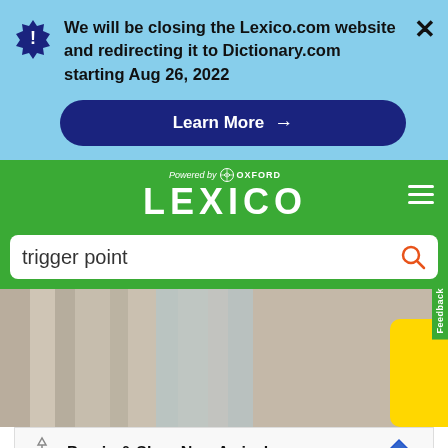We will be closing the Lexico.com website and redirecting it to Dictionary.com starting Aug 26, 2022
Learn More →
[Figure (logo): Lexico powered by Oxford logo on green navigation bar]
trigger point
[Figure (photo): Blurred photo with yellow sign containing a question mark]
Pop in & Shop New Arrivals World Market